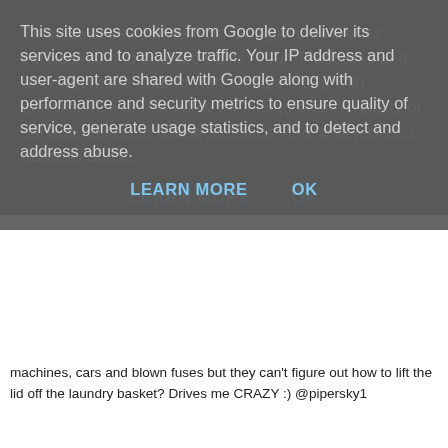This site uses cookies from Google to deliver its services and to analyze traffic. Your IP address and user-agent are shared with Google along with performance and security metrics to ensure quality of service, generate usage statistics, and to detect and address abuse.
LEARN MORE   OK
machines, cars and blown fuses but they can't figure out how to lift the lid off the laundry basket? Drives me CRAZY :) @pipersky1
Reply
haddockv 12 April 2012 at 08:38
I hate cleaning the oven,
Reply
Beth Norfolk 12 April 2012 at 13:03
In my new kitchen I love cleaning the new cooker, it's so